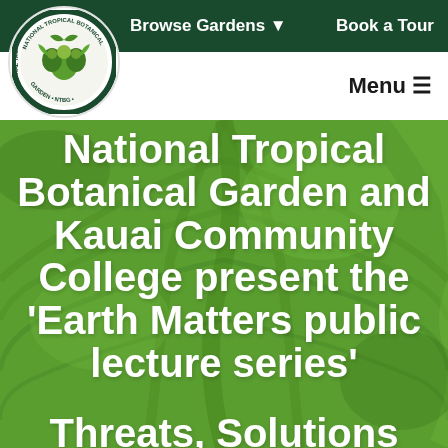[Figure (logo): National Tropical Botanical Garden circular logo with plant/leaf imagery and text around the border]
Browse Gardens ▾    Book a Tour
Menu ☰
National Tropical Botanical Garden and Kauai Community College present the 'Earth Matters public lecture series'
Threats, Solutions and